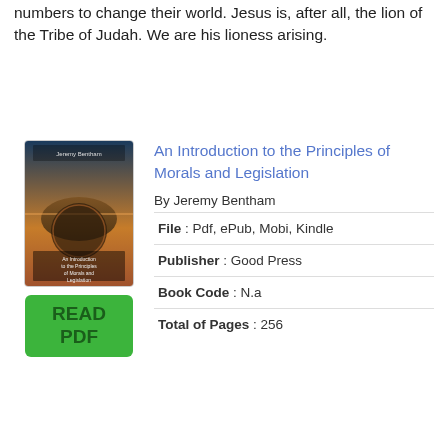numbers to change their world. Jesus is, after all, the lion of the Tribe of Judah. We are his lioness arising.
An Introduction to the Principles of Morals and Legislation
By Jeremy Bentham
[Figure (illustration): Book cover thumbnail for 'An Introduction to the Principles of Morals and Legislation' by Jeremy Bentham, showing a sunset/landscape scene]
[Figure (other): Green button labeled READ PDF]
| File | Pdf, ePub, Mobi, Kindle |
| Publisher | Good Press |
| Book Code | N.a |
| Total of Pages | 256 |